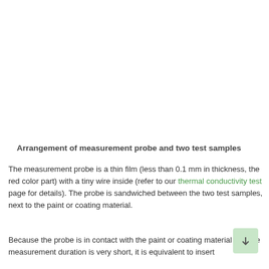Arrangement of measurement probe and two test samples
The measurement probe is a thin film (less than 0.1 mm in thickness, the red color part) with a tiny wire inside (refer to our thermal conductivity test page for details). The probe is sandwiched between the two test samples, next to the paint or coating material.
Because the probe is in contact with the paint or coating material and the measurement duration is very short, it is equivalent to insert